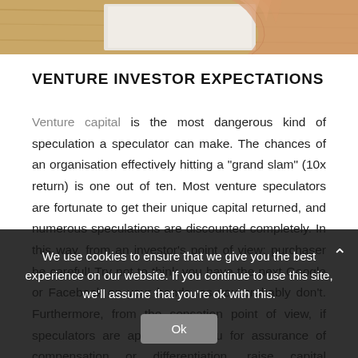[Figure (photo): Top portion of a photo showing hands on a wooden table surface, partially visible at the top of the page]
VENTURE INVESTOR EXPECTATIONS
Venture capital is the most dangerous kind of speculation a speculator can make. The chances of an organisation effectively hitting a "grand slam" (10x return) is one out of ten. Most venture speculators are fortunate to get their unique capital returned, and numerous speculations are discounted completely. In this way, from an investor's point of view: purchaser be careful! Try not to think you have the next Google or Facebook on your hands, as you probably don't. Furthermore, from the sensation point of view, if speculators are approaching you for assurance of compensation or differentiation, raise capital somewhere else, as they unmistakably don't comprehend the venture world.
We use cookies to ensure that we give you the best experience on our website. If you continue to use this site, we'll assume that you're ok with this.